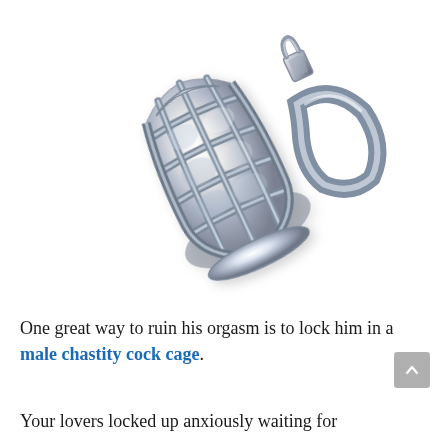[Figure (photo): A shiny chrome/silver metal male chastity cage device with a locking ring attachment, photographed on a white background at a slight angle.]
One great way to ruin his orgasm is to lock him in a male chastity cock cage.
Your lovers locked up anxiously waiting for